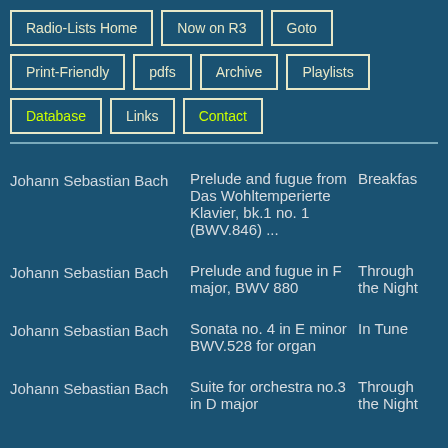Radio-Lists Home
Now on R3
Goto
Print-Friendly
pdfs
Archive
Playlists
Database
Links
Contact
| Composer | Piece | Programme |
| --- | --- | --- |
| Johann Sebastian Bach | Prelude and fugue from Das Wohltemperierte Klavier, bk.1 no. 1 (BWV.846) ... | Breakfas |
| Johann Sebastian Bach | Prelude and fugue in F major, BWV 880 | Through the Night |
| Johann Sebastian Bach | Sonata no. 4 in E minor BWV.528 for organ | In Tune |
| Johann Sebastian Bach | Suite for orchestra no.3 in D major | Through the Night |